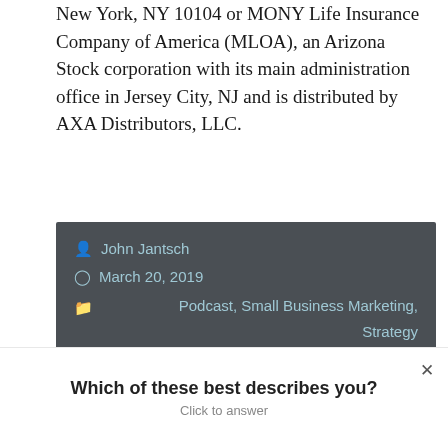New York, NY 10104 or MONY Life Insurance Company of America (MLOA), an Arizona Stock corporation with its main administration office in Jersey City, NJ and is distributed by AXA Distributors, LLC.
John Jantsch
March 20, 2019
Podcast, Small Business Marketing, Strategy
[Figure (other): Teal gradient horizontal strip banner]
Which of these best describes you?
Click to answer